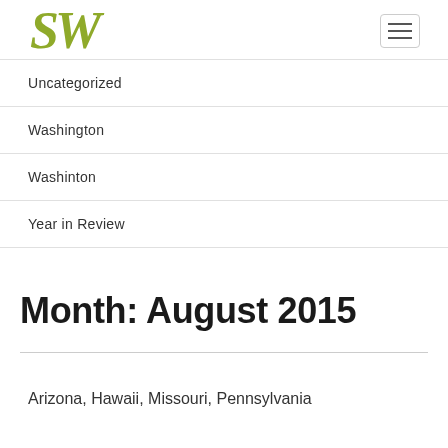SW logo and navigation menu
Uncategorized
Washington
Washinton
Year in Review
Month: August 2015
Arizona, Hawaii, Missouri, Pennsylvania